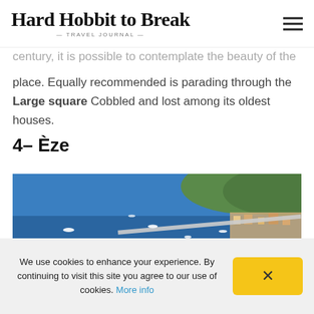Hard Hobbit to Break — TRAVEL JOURNAL —
century, it is possible to contemplate the beauty of the place. Equally recommended is parading through the Large square Cobbled and lost among its oldest houses.
4– Èze
[Figure (photo): Aerial view of the hilltop village of Èze on the French Riviera, with terracotta-roofed stone buildings on a cliff overlooking the deep blue Mediterranean Sea, with sailboats and the coastline visible in the background.]
We use cookies to enhance your experience. By continuing to visit this site you agree to our use of cookies. More info